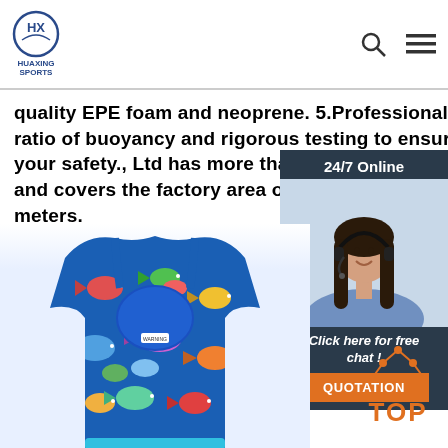HUAXING SPORTS
quality EPE foam and neoprene. 5.Professional ratio of buoyancy and rigorous testing to ensure your safety., Ltd has more than 200 employees and covers the factory area of 4800 square meters.
Get Price
[Figure (photo): 24/7 Online customer service chat widget with photo of a woman wearing a headset, and a QUOTATION button]
[Figure (photo): Children's swim vest/life jacket with colorful fish pattern on blue fabric, showing the front neckline and body]
[Figure (other): TOP button with orange arrow icon pointing upward]